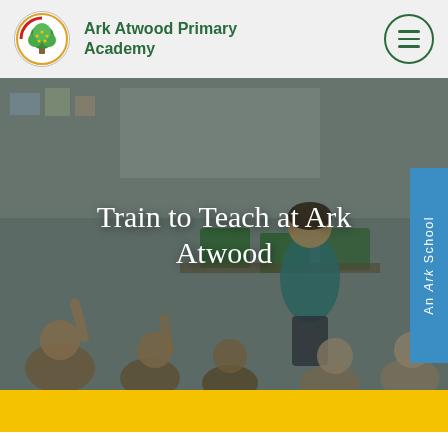Ark Atwood Primary Academy
[Figure (photo): A teacher in a teal top sits in front of a classroom of children with raised hands, classroom setting with green chairs and whiteboards]
Train to Teach at Ark Atwood
An Ark School